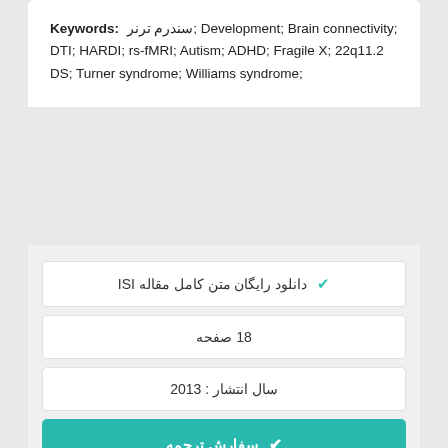Keywords: سندرم ترنر; Development; Brain connectivity; DTI; HARDI; rs-fMRI; Autism; ADHD; Fragile X; 22q11.2 DS; Turner syndrome; Williams syndrome;
✔ دانلود رایگان متن کامل مقاله ISI
18 صفحه
سال انتشار : 2013
✔ سفارش ترجمه